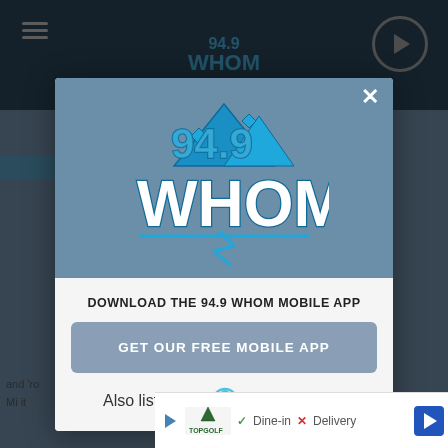[Figure (screenshot): Background of a radio station website (94.9 WHOM) visible behind a modal popup. Shows dark header with hamburger menu, WHOM logo, and play button. Blue and grey page content partially visible.]
[Figure (logo): 94.9 WHOM radio station logo in blue and white with mountain graphic, displayed at top of modal popup.]
DOWNLOAD THE 94.9 WHOM MOBILE APP
GET OUR FREE MOBILE APP
Also listen on:  amazon alexa
[Figure (logo): Amazon Alexa logo with circular ring icon in blue and the text 'amazon alexa' in grey.]
[Figure (screenshot): Bottom advertisement bar showing TopGolf logo, play button, Dine-in check mark, Delivery X mark, and a blue navigation arrow button.]